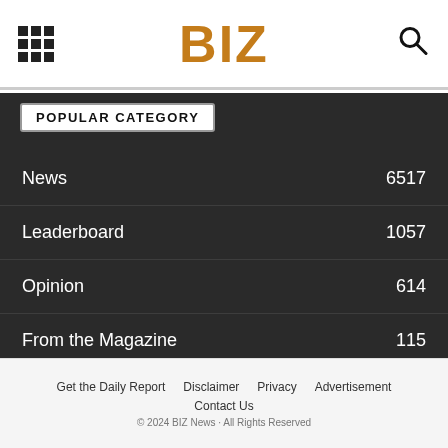BIZ
POPULAR CATEGORY
News 6517
Leaderboard 1057
Opinion 614
From the Magazine 115
BIZ Columnists 41
The 71055 34
E-Edition 8
Get the Daily Report   Disclaimer   Privacy   Advertisement   Contact Us